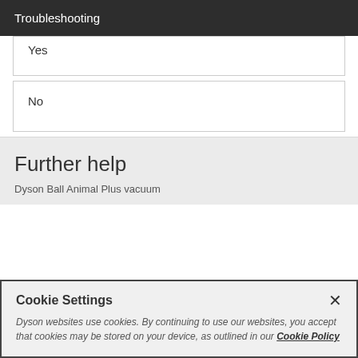Troubleshooting
Yes
No
Further help
Dyson Ball Animal Plus vacuum
Cookie Settings
Dyson websites use cookies. By continuing to use our websites, you accept that cookies may be stored on your device, as outlined in our Cookie Policy